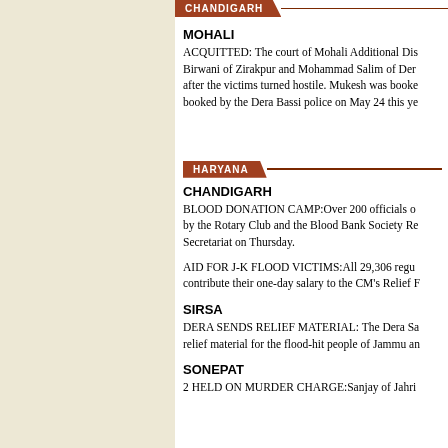CHANDIGARH
MOHALI
ACQUITTED: The court of Mohali Additional Dis Birwani of Zirakpur and Mohammad Salim of Der after the victims turned hostile. Mukesh was booke booked by the Dera Bassi police on May 24 this ye
HARYANA
CHANDIGARH
BLOOD DONATION CAMP:Over 200 officials o by the Rotary Club and the Blood Bank Society Re Secretariat on Thursday.
AID FOR J-K FLOOD VICTIMS:All 29,306 regu contribute their one-day salary to the CM's Relief F
SIRSA
DERA SENDS RELIEF MATERIAL: The Dera Sa relief material for the flood-hit people of Jammu an
SONEPAT
2 HELD ON MURDER CHARGE:Sanjay of Jahri